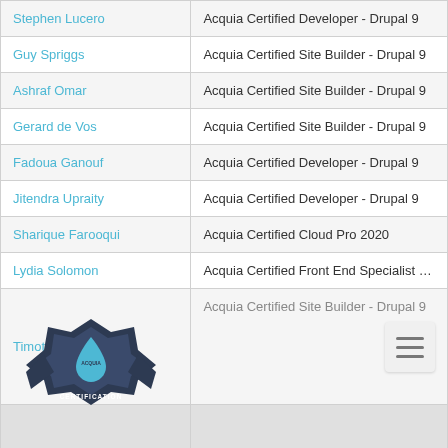| Name | Certification |
| --- | --- |
| Stephen Lucero | Acquia Certified Developer - Drupal 9 |
| Guy Spriggs | Acquia Certified Site Builder - Drupal 9 |
| Ashraf Omar | Acquia Certified Site Builder - Drupal 9 |
| Gerard de Vos | Acquia Certified Site Builder - Drupal 9 |
| Fadoua Ganouf | Acquia Certified Developer - Drupal 9 |
| Jitendra Upraity | Acquia Certified Developer - Drupal 9 |
| Sharique Farooqui | Acquia Certified Cloud Pro 2020 |
| Lydia Solomon | Acquia Certified Front End Specialist - Drupa |
| Timothy Smith | Acquia Certified Site Builder - Drupal 9 |
|  |  |
| Jane Hollander | Acquia Certified Developer - Drupal 9 |
| Raymond Yick | Acquia Certified Developer - Drupal 9 |
[Figure (logo): Acquia Certification badge - dark star shape with blue water drop and text CERTIFICATION]